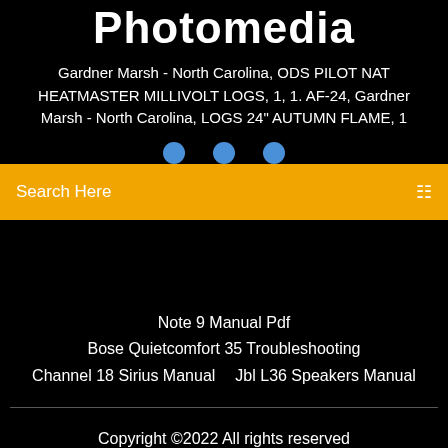Photomedia
Gardner Marsh - North Carolina, ODS PILOT NAT HEATMASTER MILLIVOLT LOGS, 1, 1. AF-24, Gardner Marsh - North Carolina, LOGS 24" AUTUMN FLAME, 1
Search Here
Note 9 Manual Pdf
Bose Quietcomfort 35 Troubleshooting
Channel 18 Sirius Manual   Jbl L36 Speakers Manual
Copyright ©2022 All rights reserved